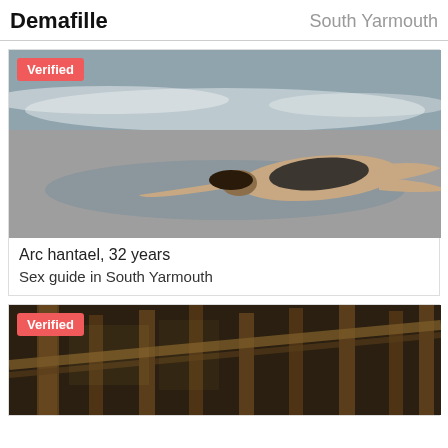Demafille | South Yarmouth
[Figure (photo): Woman in black swimsuit lying on wet sandy beach with ocean waves in background, verified listing photo]
Arc hantael, 32 years
Sex guide in South Yarmouth
[Figure (photo): Interior architectural photo showing wooden columns/staircase railings in dim lighting, verified listing photo]